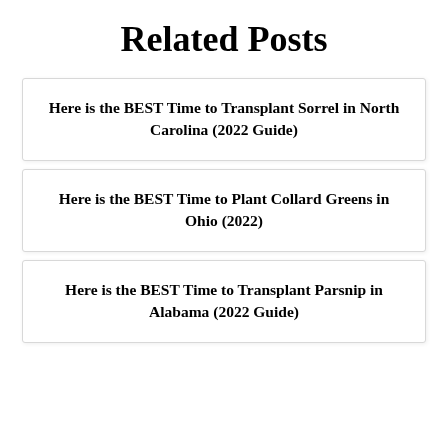Related Posts
Here is the BEST Time to Transplant Sorrel in North Carolina (2022 Guide)
Here is the BEST Time to Plant Collard Greens in Ohio (2022)
Here is the BEST Time to Transplant Parsnip in Alabama (2022 Guide)